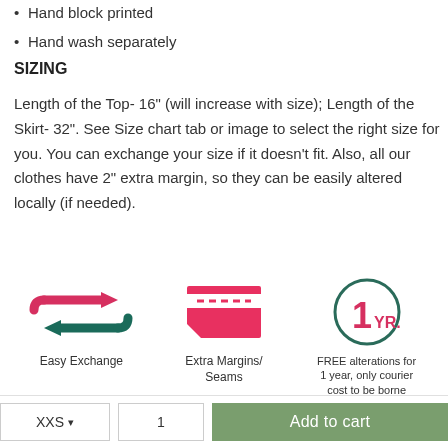Hand block printed
Hand wash separately
SIZING
Length of the Top- 16" (will increase with size); Length of the Skirt- 32". See Size chart tab or image to select the right size for you. You can exchange your size if it doesn't fit. Also, all our clothes have 2" extra margin, so they can be easily altered locally (if needed).
[Figure (infographic): Three icons: Easy Exchange (two arrows cycling), Extra Margins/Seams (fabric with dashed lines), 1 YR free alterations (circle with 1yr text)]
XXS ▾   1   Add to cart